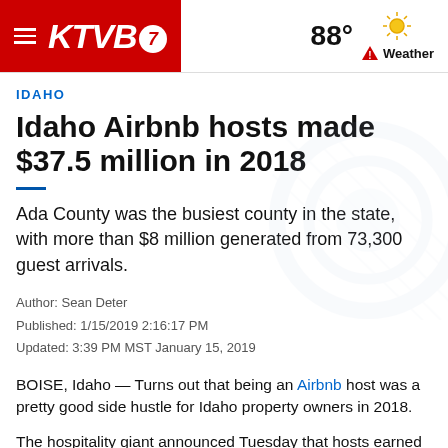KTVB7 — 88° Weather
IDAHO
Idaho Airbnb hosts made $37.5 million in 2018
Ada County was the busiest county in the state, with more than $8 million generated from 73,300 guest arrivals.
Author: Sean Deter
Published: 1/15/2019 2:16:17 PM
Updated: 3:39 PM MST January 15, 2019
BOISE, Idaho — Turns out that being an Airbnb host was a pretty good side hustle for Idaho property owners in 2018.
The hospitality giant announced Tuesday that hosts earned